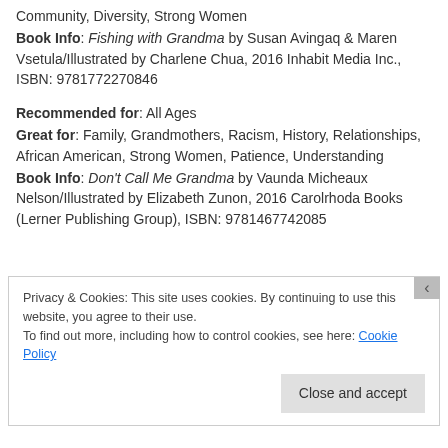Community, Diversity, Strong Women
Book Info: Fishing with Grandma by Susan Avingaq & Maren Vsetula/Illustrated by Charlene Chua, 2016 Inhabit Media Inc., ISBN: 9781772270846
Recommended for: All Ages
Great for: Family, Grandmothers, Racism, History, Relationships, African American, Strong Women, Patience, Understanding
Book Info: Don't Call Me Grandma by Vaunda Micheaux Nelson/Illustrated by Elizabeth Zunon, 2016 Carolrhoda Books (Lerner Publishing Group), ISBN: 9781467742085
Privacy & Cookies: This site uses cookies. By continuing to use this website, you agree to their use.
To find out more, including how to control cookies, see here: Cookie Policy
Close and accept